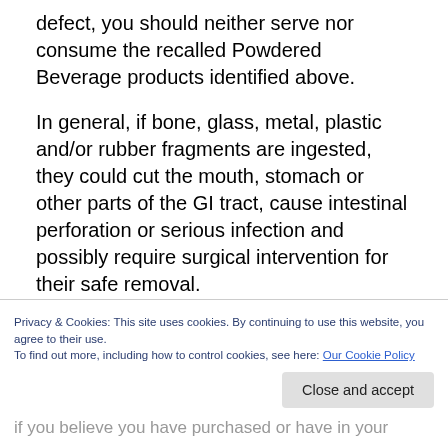defect, you should neither serve nor consume the recalled Powdered Beverage products identified above.
In general, if bone, glass, metal, plastic and/or rubber fragments are ingested, they could cut the mouth, stomach or other parts of the GI tract, cause intestinal perforation or serious infection and possibly require surgical intervention for their safe removal.
==> Never depend on your senses of sight, smell, taste or touch to confirm food poisoning, adulteration or contamination. If in doubt about the safety of any food...
Privacy & Cookies: This site uses cookies. By continuing to use this website, you agree to their use.
To find out more, including how to control cookies, see here: Our Cookie Policy
Close and accept